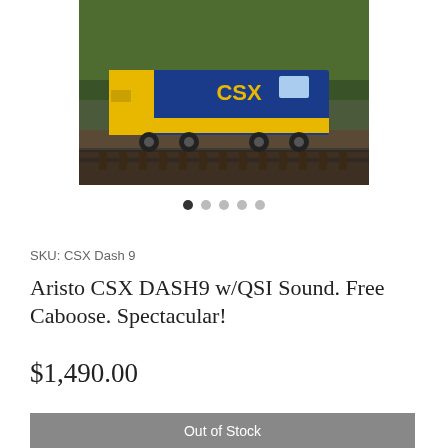[Figure (photo): A CSX blue and yellow diesel locomotive (Dash 9) on railroad tracks with green trees in background]
● ○ ○ ○ ○
SKU: CSX Dash 9
Aristo CSX DASH9 w/QSI Sound. Free Caboose. Spectacular!
$1,490.00
Out of Stock